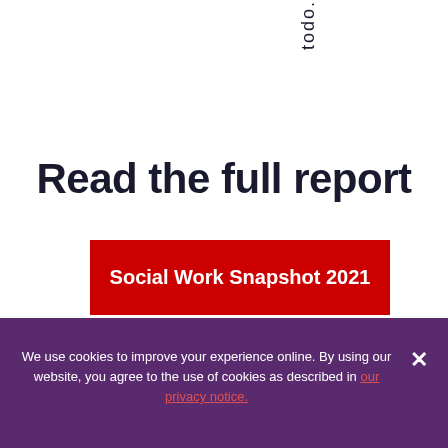todo.
Read the full report
Social Work Snapshot 2021
We use cookies to improve your experience online. By using our website, you agree to the use of cookies as described in our privacy notice.